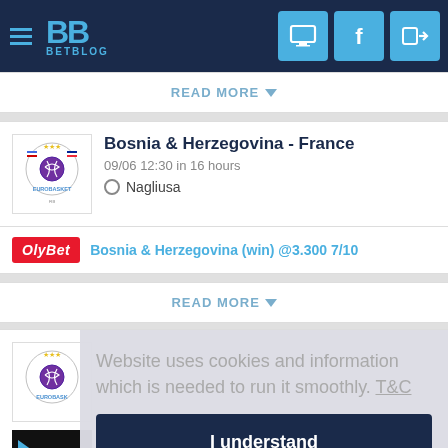[Figure (screenshot): BetBlog website header with hamburger menu, BB logo, and three icon buttons (monitor, Facebook, login)]
READ MORE ▼
Bosnia & Herzegovina - France
09/06 12:30 in 16 hours
Nagliusa
Bosnia & Herzegovina (win) @3.300 7/10
READ MORE ▼
Website uses cookies and information which is needed to run it smoothly. T&C
I understand
READ MORE ▼